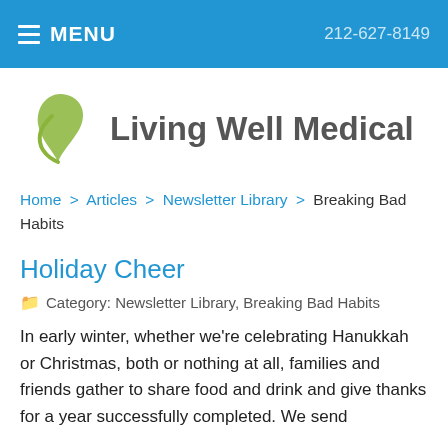MENU | 212-627-8149
[Figure (logo): Living Well Medical logo with green leaf icon and gray bold text]
Home > Articles > Newsletter Library > Breaking Bad Habits
Holiday Cheer
Category: Newsletter Library, Breaking Bad Habits
In early winter, whether we're celebrating Hanukkah or Christmas, both or nothing at all, families and friends gather to share food and drink and give thanks for a year successfully completed. We send